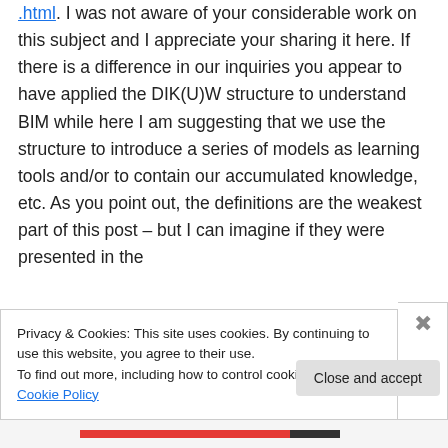.html. I was not aware of your considerable work on this subject and I appreciate your sharing it here. If there is a difference in our inquiries you appear to have applied the DIK(U)W structure to understand BIM while here I am suggesting that we use the structure to introduce a series of models as learning tools and/or to contain our accumulated knowledge, etc. As you point out, the definitions are the weakest part of this post – but I can imagine if they were presented in the
Privacy & Cookies: This site uses cookies. By continuing to use this website, you agree to their use.
To find out more, including how to control cookies, see here: Cookie Policy